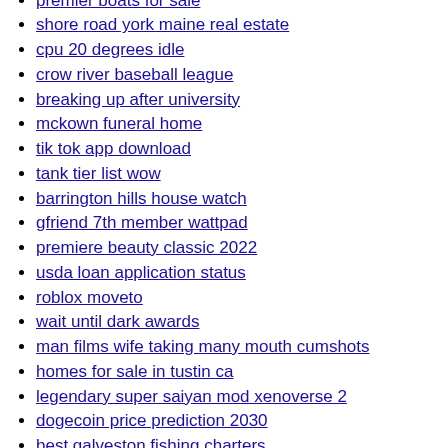premier boats for sale
shore road york maine real estate
cpu 20 degrees idle
crow river baseball league
breaking up after university
mckown funeral home
tik tok app download
tank tier list wow
barrington hills house watch
gfriend 7th member wattpad
premiere beauty classic 2022
usda loan application status
roblox moveto
wait until dark awards
man films wife taking many mouth cumshots
homes for sale in tustin ca
legendary super saiyan mod xenoverse 2
dogecoin price prediction 2030
best galveston fishing charters
strace sigalrm
limo rentals near me
slowly getting back together with your ex
nippon tea set markings
instagram captions to make your crush like you
uplifting music